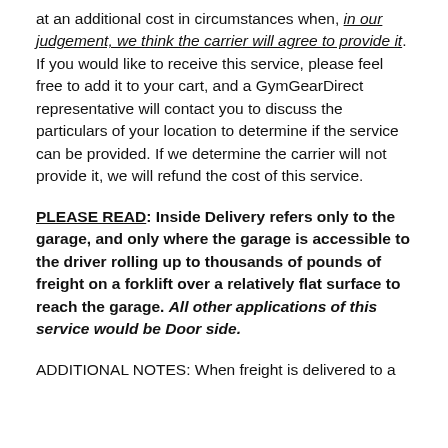at an additional cost in circumstances when, in our judgement, we think the carrier will agree to provide it. If you would like to receive this service, please feel free to add it to your cart, and a GymGearDirect representative will contact you to discuss the particulars of your location to determine if the service can be provided. If we determine the carrier will not provide it, we will refund the cost of this service.
PLEASE READ: Inside Delivery refers only to the garage, and only where the garage is accessible to the driver rolling up to thousands of pounds of freight on a forklift over a relatively flat surface to reach the garage. All other applications of this service would be Door side.
ADDITIONAL NOTES: When freight is delivered to a